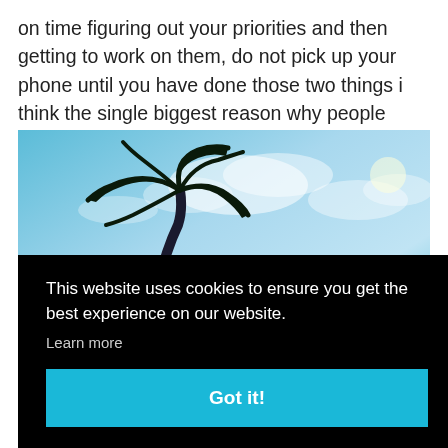on time figuring out your priorities and then getting to work on them, do not pick up your phone until you have done those two things i think the single biggest reason why people have bad days.
[Figure (photo): Outdoor photo of a tropical beach scene with a palm tree silhouette against a blue cloudy sky, with turquoise water visible on the right side.]
This website uses cookies to ensure you get the best experience on our website.
Learn more
Got it!